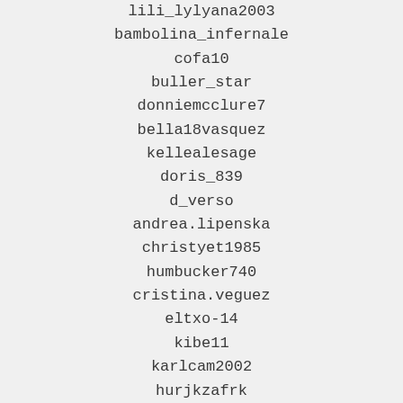lili_lylyana2003
bambolina_infernale
cofa10
buller_star
donniemcclure7
bella18vasquez
kellealesage
doris_839
d_verso
andrea.lipenska
christyet1985
humbucker740
cristina.veguez
eltxo-14
kibe11
karlcam2002
hurjkzafrk
irmelni
mergulhao_10
dorica-baggio
justinca2016
castropublicidad01
demonicbiatch89
carmen_1140
lanevlovin